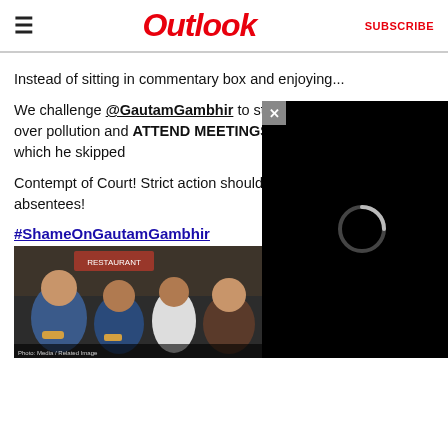Outlook
Instead of sitting in commentary box and enjoying...
We challenge @GautamGambhir to stop playing blame games over pollution and ATTEND MEETINGS ON AIR POLLUTION which he skipped
Contempt of Court! Strict action should be taken against all absentees!
#ShameOnGautamGambhir
[Figure (photo): Group photo of men eating food, partially obscured by a video player overlay with a loading spinner on a black background]